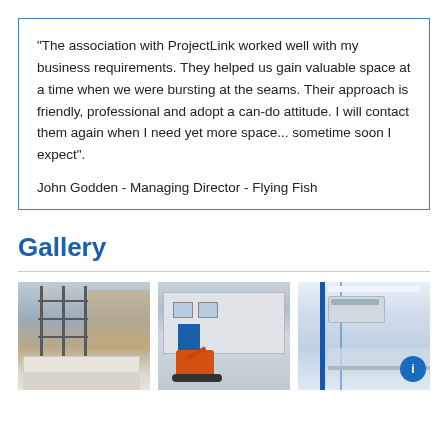"The association with ProjectLink worked well with my business requirements. They helped us gain valuable space at a time when we were bursting at the seams. Their approach is friendly, professional and adopt a can-do attitude. I will contact them again when I need yet more space... sometime soon I expect".

John Godden - Managing Director - Flying Fish
Gallery
[Figure (photo): Construction site with scaffolding and building materials in foreground]
[Figure (photo): Building exterior with a red mini excavator in front of a blue door]
[Figure (photo): Interior of a cold room or industrial facility with blue lighting and equipment, with a blue circular button/control]